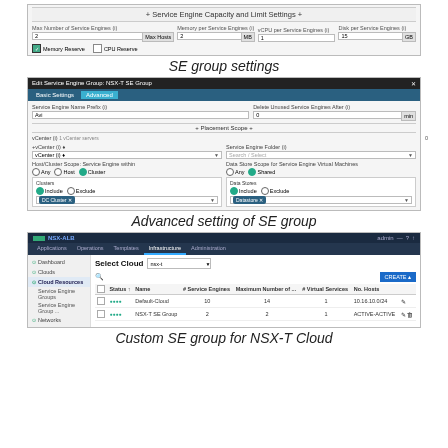[Figure (screenshot): UI screenshot showing Service Engine Capacity and Limit Settings with fields for Max Number of Service Engines, Memory per Service Engine, vCPUs per Service Engine, and Disk per Service Engine, with Memory Reserve and CPU Reserve checkboxes.]
SE group settings
[Figure (screenshot): UI screenshot of Edit Service Engine Group: NSX-T SE Group with Advanced tab selected, showing Service Engine Name Prefix, Delete Unused Service Engines After fields, Placement Scope section with vCenter settings, Host/Cluster Scope, Data Store Scope with Cluster and Shared options, and dropdown selections for DC Cluster and Datastore.]
Advanced setting of SE group
[Figure (screenshot): UI screenshot of NSX-ALB showing Select Cloud dropdown with a list of clouds including Default-Cloud and NSX-T SE Group entries with columns for Status, Name, # Service Engines, Maximum Number of..., # Virtual Services, No. Hosts.]
Custom SE group for NSX-T Cloud